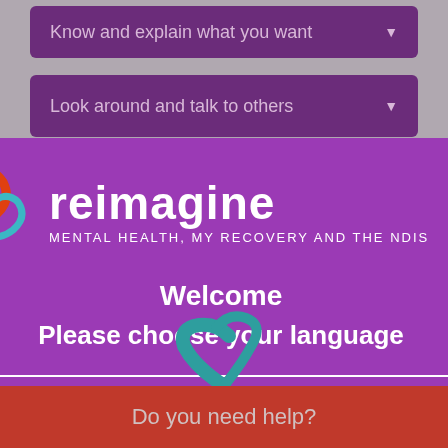[Figure (screenshot): Screenshot of the Reimagine NDIS web app showing accordion menu items in purple (Know and explain what you want, Look around and talk to others, Trust your..., Ask Yourself..., Ask them...) in the background, with a language-selection modal overlay in the foreground. The modal shows the Reimagine logo (colorful swirl bird graphic + text 'reimagine / MENTAL HEALTH, MY RECOVERY AND THE NDIS'), Welcome text, Please choose your language, and a Please Select dropdown. At the bottom is a red 'Do you need help?' bar.]
Know and explain what you want
Look around and talk to others
Trust your...
Ask Yourself...
Ask them...
reimagine
MENTAL HEALTH, MY RECOVERY AND THE NDIS
Welcome
Please choose your language
Please Select
Do you need help?